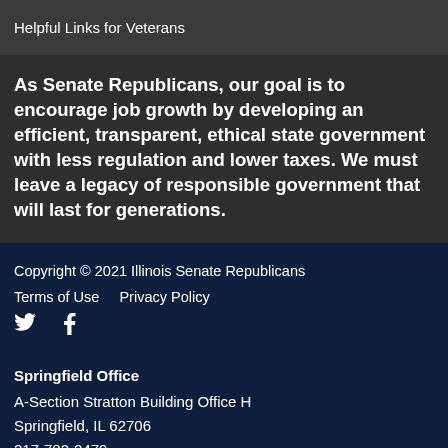Helpful Links for Veterans
As Senate Republicans, our goal is to encourage job growth by developing an efficient, transparent, ethical state government with less regulation and lower taxes. We must leave a legacy of responsible government that will last for generations.
Copyright © 2021 Illinois Senate Republicans
Terms of Use    Privacy Policy
Springfield Office
A-Section Stratton Building Office H
Springfield, IL 62706
217-782-2479